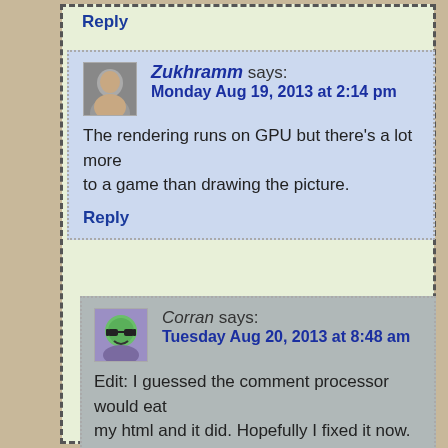Reply
Zukhramm says:
Monday Aug 19, 2013 at 2:14 pm

The rendering runs on GPU but there's a lot more to a game than drawing the picture.

Reply
Corran says:
Tuesday Aug 20, 2013 at 8:48 am

Edit: I guessed the comment processor would eat my html and it did. Hopefully I fixed it now.

From what I see the actual id of the checkbox is cl_check_cd7.

So to make it work you would replace 'Confirm